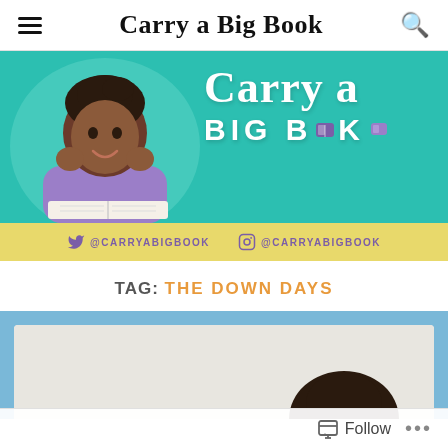Carry a Big Book
[Figure (illustration): Blog banner with teal background. Left: illustrated Black woman leaning on open book. Right: cursive white text 'Carry a' and bold white text 'BIG BOOK' with purple book icon. Yellow bottom bar with Twitter @carryabigbook and Instagram @carryabigbook in purple.]
TAG: THE DOWN DAYS
[Figure (photo): Partial article card with blue border background and white inner panel showing cropped photo of a person.]
Follow ...